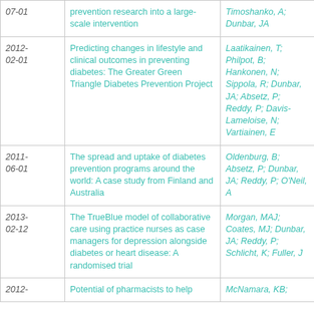| Date | Title | Authors |
| --- | --- | --- |
| 07-01 | prevention research into a large-scale intervention | Timoshanko, A; Dunbar, JA |
| 2012-02-01 | Predicting changes in lifestyle and clinical outcomes in preventing diabetes: The Greater Green Triangle Diabetes Prevention Project | Laatikainen, T; Philpot, B; Hankonen, N; Sippola, R; Dunbar, JA; Absetz, P; Reddy, P; Davis-Lameloise, N; Vartiainen, E |
| 2011-06-01 | The spread and uptake of diabetes prevention programs around the world: A case study from Finland and Australia | Oldenburg, B; Absetz, P; Dunbar, JA; Reddy, P; O'Neil, A |
| 2013-02-12 | The TrueBlue model of collaborative care using practice nurses as case managers for depression alongside diabetes or heart disease: A randomised trial | Morgan, MAJ; Coates, MJ; Dunbar, JA; Reddy, P; Schlicht, K; Fuller, J |
| 2012- | Potential of pharmacists to help... | McNamara, KB; |